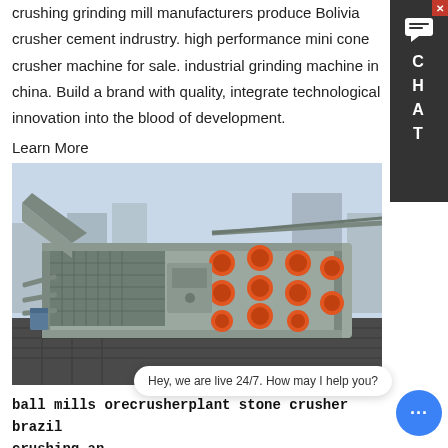crushing grinding mill manufacturers produce Bolivia crusher cement indrustry. high performance mini cone crusher machine for sale. industrial grinding machine in china. Build a brand with quality, integrate technological innovation into the blood of development.
Learn More
[Figure (photo): Industrial vibrating screen / sieve machine with orange electric motors mounted on the side, photographed outdoors at a manufacturing facility with city buildings visible in the background.]
ball mills orecrusherplant stone crusher brazil crushing and...
stone crusher unit in philippines sand making